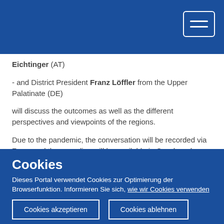Eichtinger (AT)
- and District President Franz Löffler from the Upper Palatinate (DE)
will discuss the outcomes as well as the different perspectives and viewpoints of the regions.
Due to the pandemic, the conversation will be recorded via Zoom and the recording will be available in Czech and German on the following websites:
https://www.europaforum.at
Cookies
Dieses Portal verwendet Cookies zur Optimierung der Browserfunktion. Informieren Sie sich, wie wir Cookies verwenden und wie Sie Ihre Einstellungen ändern können.
Cookies akzeptieren
Cookies ablehnen